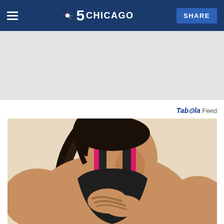NBC 5 Chicago — SHARE
[Figure (other): Gray advertisement placeholder band]
Taboola Feed
[Figure (photo): Woman in a dark and pink sports bra clutching her chest, appearing to be in pain or discomfort, with a light beige background.]